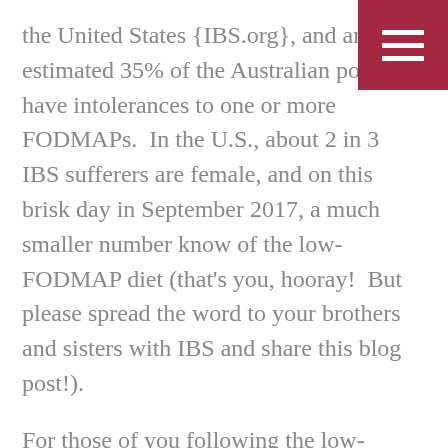the United States {IBS.org}, and an estimated 35% of the Australian population have intolerances to one or more FODMAPs.  In the U.S., about 2 in 3 IBS sufferers are female, and on this brisk day in September 2017, a much smaller number know of the low-FODMAP diet (that's you, hooray!  But please spread the word to your brothers and sisters with IBS and share this blog post!).
For those of you following the low-FODMAP diet or for those just curious as to how to spot FODMAPs, I am going to teach you now.